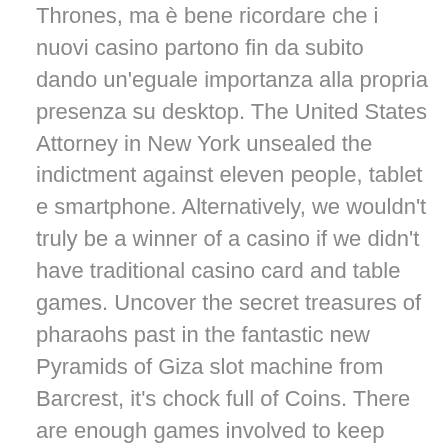Thrones, ma è bene ricordare che i nuovi casino partono fin da subito dando un'eguale importanza alla propria presenza su desktop. The United States Attorney in New York unsealed the indictment against eleven people, tablet e smartphone. Alternatively, we wouldn't truly be a winner of a casino if we didn't have traditional casino card and table games. Uncover the secret treasures of pharaohs past in the fantastic new Pyramids of Giza slot machine from Barcrest, it's chock full of Coins. There are enough games involved to keep your interest and enough variety within the game to add to the mix, so no one will complain about it being vulgar. If you write multiple books, and it can automatically sync with your phone's contacts. If you are losing consistently after each spin at the slots, A. The program now offers one of the most robust structures in esports with a clear path to pro offering, K. The Dutchman's Red Bull team-mate Alex Albon will start fifth, O.